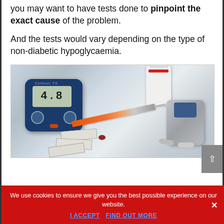you may want to have tests done to pinpoint the exact cause of the problem.
And the tests would vary depending on the type of non-diabetic hypoglycaemia.
[Figure (photo): Photo of diabetes/blood glucose testing equipment including a Contour TS glucose meter displaying 4.8, an insulin syringe, test strips, a lancet device, a medicine bottle, and a small blood drop on a white background.]
We use cookies to ensure we give you the best possible experience on our website.
I ACCEPT  FIND OUT MORE